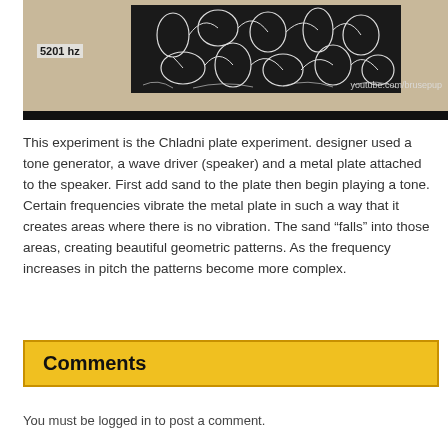[Figure (photo): Chladni plate experiment showing sand patterns on a dark metal plate at 5201 hz, with a youtube.com/brusepup watermark in the lower right]
This experiment is the Chladni plate experiment. designer used a tone generator, a wave driver (speaker) and a metal plate attached to the speaker. First add sand to the plate then begin playing a tone. Certain frequencies vibrate the metal plate in such a way that it creates areas where there is no vibration. The sand “falls” into those areas, creating beautiful geometric patterns. As the frequency increases in pitch the patterns become more complex.
Comments
You must be logged in to post a comment.